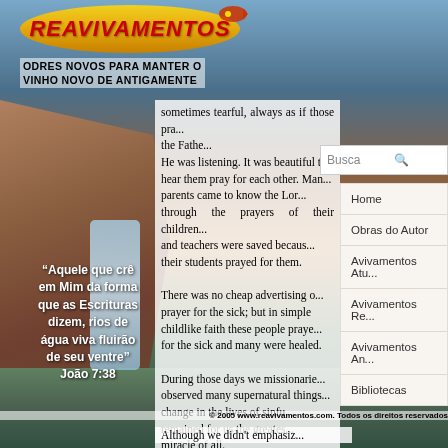[Figure (screenshot): Website screenshot of Reavivamentos.com showing logo, navigation menu, search bar, article text, and background landscape with waterfall and rocks]
REAVIVAMENTOS
ODRES NOVOS PARA MANTER O VINHO NOVO DE ANTIGAMENTE
sometimes tearful, always as if those pra... the Fathe... He was listening. It was beautiful t... hear them pray for each other. Man... parents came to know the Lor... through the prayers of their children... and teachers were saved becaus... their students prayed for them.
There was no cheap advertising o... prayer for the sick; but in simple childlike faith these people praye... for the sick and many were healed.
During those days we missionarie... observed many supernatural things... change in the lives of sinfu... remained for us the greates... miracle of all.
Although we didn't emphasiz...
“Aquele que crê em Mim da forma que as Escrituras dizem, rios de água viva fluirão de seu ventre” João 7:38
Home
Obras do Autor
Avivamentos Atu...
Avivamentos Re...
Avivamentos An...
Bibliotecas
© 2005 www.reavivamentos.com. Todos os direitos reservados